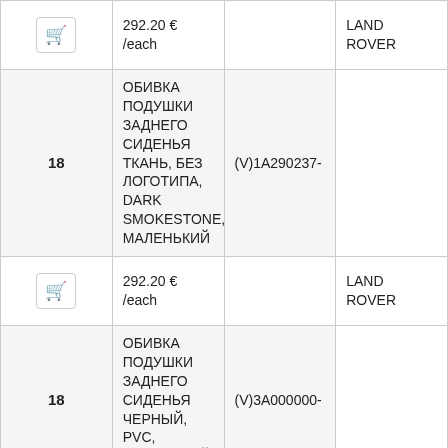| # | Description | Code | Brand |
| --- | --- | --- | --- |
| 🛒 | 292.20 € /each |  | LAND ROVER |
| 18 | ОБИВКА ПОДУШКИ ЗАДНЕГО СИДЕНЬЯ ТКАНЬ, БЕЗ ЛОГОТИПА, DARK SMOKESTONE, МАЛЕНЬКИЙ | (V)1A290237- |  |
| 🛒 | 292.20 € /each |  | LAND ROVER |
| 18 | ОБИВКА ПОДУШКИ ЗАДНЕГО СИДЕНЬЯ ЧЕРНЫЙ, PVC, МАЛЕНЬКИЙ | (V)3А000000- |  |
| 18 | ОБИВКА ПОДУШКИ ЗАДНЕГО СИДЕНЬЯ PVC, ALPACA, МАЛЕНЬКИЙ | (V)3А000000- |  |
| 🛒 | 257.78 € /each |  | LAND ROVER |
|  | ОБИВКА ПОДУШКИ |  |  |